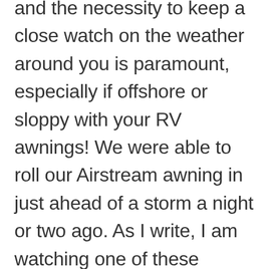and the necessity to keep a close watch on the weather around you is paramount, especially if offshore or sloppy with your RV awnings! We were able to roll our Airstream awning in just ahead of a storm a night or two ago. As I write, I am watching one of these “shake and bake” storms form up not far from here. They are beautiful as you watch them develop just off shore.